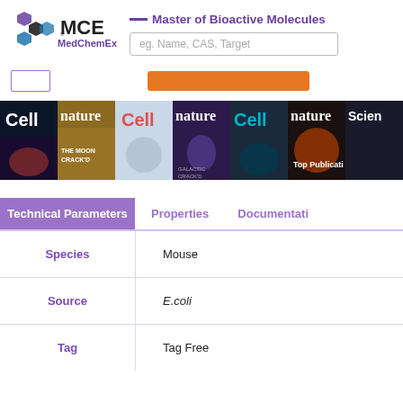[Figure (logo): MCE MedChemExpress logo with hexagon flower shapes in purple and blue]
— Master of Bioactive Molecules
eg. Name, CAS, Target
[Figure (illustration): Strip of journal covers: Cell, nature, Cell, nature, Cell, nature, Science — Top Publications]
| Technical Parameters | Properties | Documentation |
| --- | --- | --- |
| Species | Mouse |  |
| Source | E.coli |  |
| Tag | Tag Free |  |